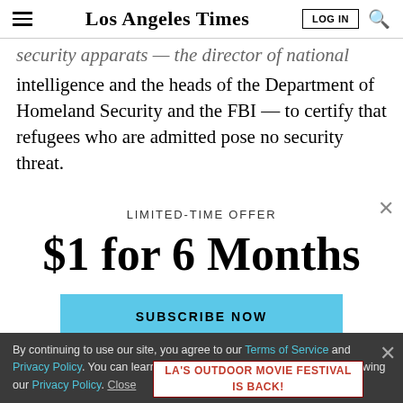Los Angeles Times | LOG IN | Search
security apparats — the director of national intelligence and the heads of the Department of Homeland Security and the FBI — to certify that refugees who are admitted pose no security threat.
The White House, which has proposed admitting at least
LIMITED-TIME OFFER
$1 for 6 Months
SUBSCRIBE NOW
By continuing to use our site, you agree to our Terms of Service and Privacy Policy. You can learn more about how we use cookies by reviewing our Privacy Policy. Close
LA'S OUTDOOR MOVIE FESTIVAL IS BACK!